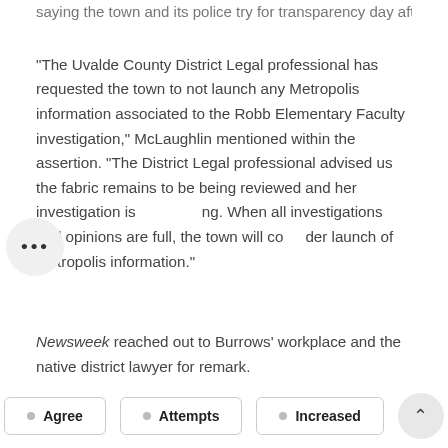saying the town and its police try for transparency day after day.
“The Uvalde County District Legal professional has requested the town to not launch any Metropolis information associated to the Robb Elementary Faculty investigation,” McLaughlin mentioned within the assertion. “The District Legal professional advised us the fabric remains to be being reviewed and her investigation is …ng. When all investigations and opinions are full, the town will consider launch of Metropolis information.”
Newsweek reached out to Burrows’ workplace and the native district lawyer for remark.
Source link
Agree
Attempts
Increased